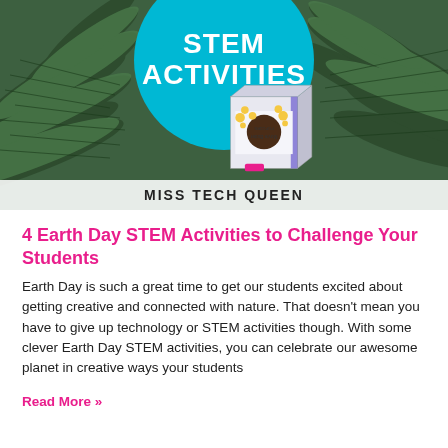[Figure (photo): Photo of pine branches with a teal circle overlay reading STEM ACTIVITIES, a cereal box prop in the foreground, and MISS TECH QUEEN watermark at the bottom]
4 Earth Day STEM Activities to Challenge Your Students
Earth Day is such a great time to get our students excited about getting creative and connected with nature. That doesn't mean you have to give up technology or STEM activities though. With some clever Earth Day STEM activities, you can celebrate our awesome planet in creative ways your students
Read More »